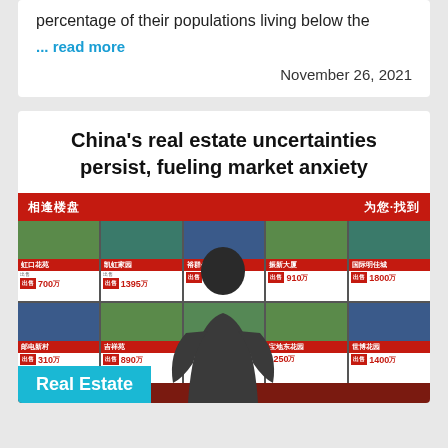percentage of their populations living below the
... read more
November 26, 2021
China's real estate uncertainties persist, fueling market anxiety
[Figure (photo): A man walks past a real estate agency window displaying property listings in China with prices in 万 (10,000 yuan): 700万, 1395万, 910万, 1800万, 310万, 890万, 1250万, 1400万. Red banners with Chinese text at top.]
Real Estate